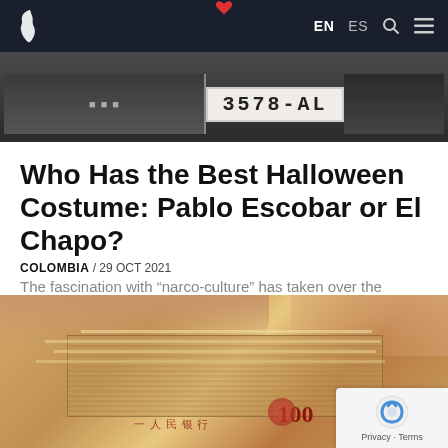EN  ES
[Figure (photo): Cropped photo showing a mugshot placard with number 3578-AL]
Who Has the Best Halloween Costume: Pablo Escobar or El Chapo?
COLOMBIA / 29 OCT 2021
The fascination with “narco-culture” has taken over the entertainment and media industries: documentaries, TV shows, movies, podcasts, even a dedicated…
[Figure (photo): Close-up photo of hands holding stacks of Chinese yuan banknotes (100 renminbi bills)]